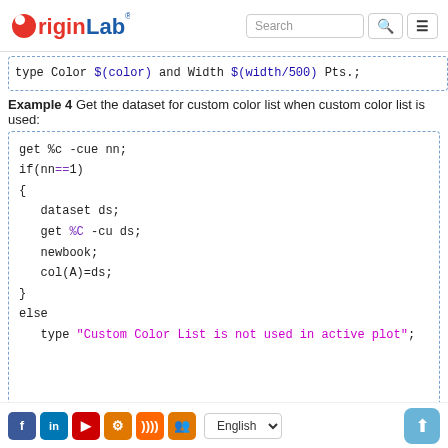OriginLab [Search] [menu]
[Figure (screenshot): Code snippet showing: type Color $(color) and Width $(width/500) Pts.;]
Example 4 Get the dataset for custom color list when custom color list is used:
[Figure (screenshot): Code block: get %c -cue nn; if(nn==1) { dataset ds; get %C -cu ds; newbook; col(A)=ds; } else type "Custom Color List is not used in active plot";]
See Also
Facebook LinkedIn YouTube Settings RSS Group | English | up arrow